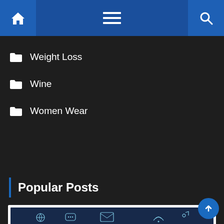Navigation bar with home icon, menu icon, and search icon
Weight Loss
Wine
Women Wear
Popular Posts
[Figure (photo): Hand pointing at floating social media icons (chat bubbles, envelopes, wifi, globe, music notes) on a dark blue background — digital communication concept image]